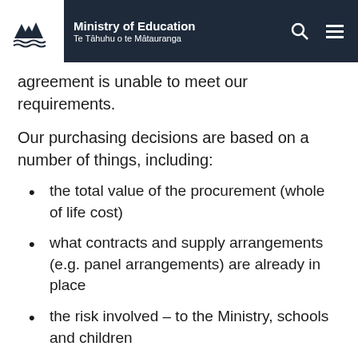Ministry of Education — Te Tāhuhu o te Mātauranga
agreement is unable to meet our requirements.
Our purchasing decisions are based on a number of things, including:
the total value of the procurement (whole of life cost)
what contracts and supply arrangements (e.g. panel arrangements) are already in place
the risk involved – to the Ministry, schools and children
the nature and complexity of the purchase